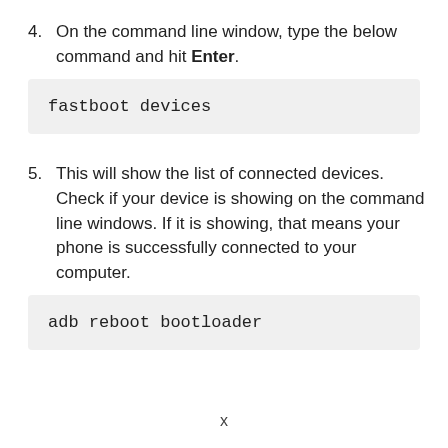4. On the command line window, type the below command and hit Enter.
fastboot devices
5. This will show the list of connected devices. Check if your device is showing on the command line windows. If it is showing, that means your phone is successfully connected to your computer.
adb reboot bootloader